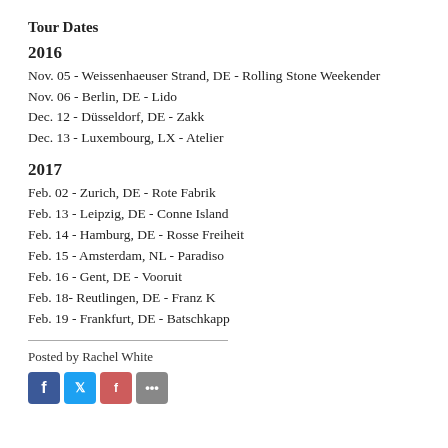Tour Dates
2016
Nov. 05 - Weissenhaeuser Strand, DE - Rolling Stone Weekender
Nov. 06 - Berlin, DE - Lido
Dec. 12 - Düsseldorf, DE - Zakk
Dec. 13 - Luxembourg, LX - Atelier
2017
Feb. 02 - Zurich, DE - Rote Fabrik
Feb. 13 - Leipzig, DE - Conne Island
Feb. 14 - Hamburg, DE - Rosse Freiheit
Feb. 15 - Amsterdam, NL - Paradiso
Feb. 16 - Gent, DE - Vooruit
Feb. 18- Reutlingen, DE - Franz K
Feb. 19 - Frankfurt, DE - Batschkapp
Posted by Rachel White
[Figure (other): Social media sharing icons: Facebook, Twitter, share, and more buttons]